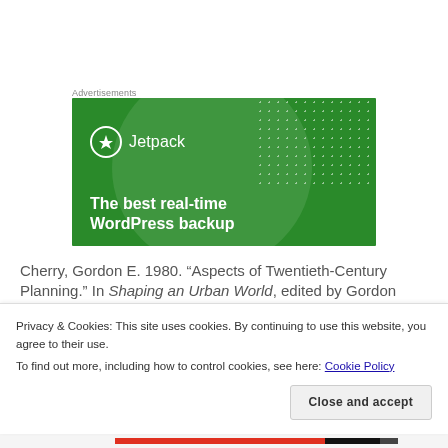Advertisements
[Figure (illustration): Jetpack advertisement banner — green background with lighter green circle, white dot pattern, Jetpack logo (lightning bolt in circle) and text 'The best real-time WordPress backup']
Cherry, Gordon E. 1980. “Aspects of Twentieth-Century Planning.” In Shaping an Urban World, edited by Gordon
Privacy & Cookies: This site uses cookies. By continuing to use this website, you agree to their use.
To find out more, including how to control cookies, see here: Cookie Policy
Close and accept